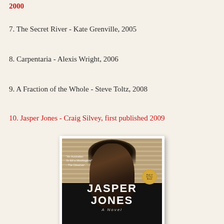2000
7. The Secret River - Kate Grenville, 2005
8. Carpentaria - Alexis Wright, 2006
9. A Fraction of the Whole - Steve Toltz, 2008
10. Jasper Jones - Craig Silvey, first published 2009
[Figure (photo): Book cover of Jasper Jones by Craig Silvey - a novel. Cover shows a young boy's face with dark tousled hair against a background of window blinds. Title 'JASPER JONES' in large white bold text, subtitle 'A Novel' in italic. Has a golden award medallion badge.]